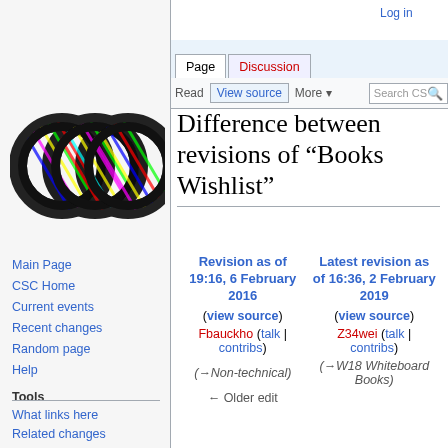[Figure (logo): CSC wiki logo - three interlocked rings with colorful pattern]
Log in
Page | Discussion | Read | View source | More
Difference between revisions of "Books Wishlist"
Main Page
CSC Home
Current events
Recent changes
Random page
Help
Tools
What links here
Related changes
Special pages
Printable version
Permanent link
Page information
| Revision as of 19:16, 6 February 2016 | Latest revision as of 16:36, 2 February 2019 |
| --- | --- |
| (view source) | (view source) |
| Fbauckho (talk | contribs) | Z34wei (talk | contribs) |
| (→Non-technical) | (→W18 Whiteboard Books) |
| ← Older edit |  |